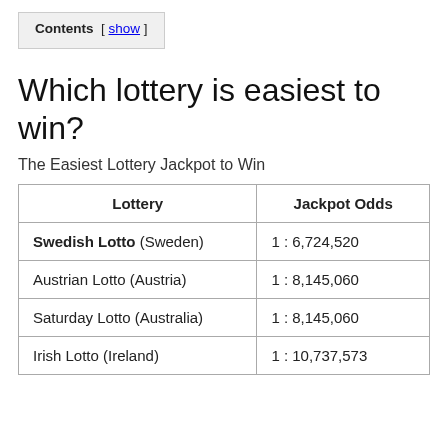Contents [ show ]
Which lottery is easiest to win?
The Easiest Lottery Jackpot to Win
| Lottery | Jackpot Odds |
| --- | --- |
| Swedish Lotto (Sweden) | 1 : 6,724,520 |
| Austrian Lotto (Austria) | 1 : 8,145,060 |
| Saturday Lotto (Australia) | 1 : 8,145,060 |
| Irish Lotto (Ireland) | 1 : 10,737,573 |